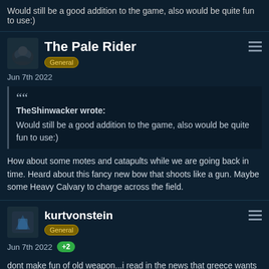Would still be a good addition to the game, also would be quite fun to use:)
The Pale Rider
General
Jun 7th 2022
TheShinwacker wrote: Would still be a good addition to the game, also would be quite fun to use:)
How about some motes and catapults while we are going back in time. Heard about this fancy new bow that shoots like a gun. Maybe some Heavy Calvary to charge across the field.
kurtvonstein
General
Jun 7th 2022 +2
dont make fun of old weapon...i read in the news that greece wants to send old soviet tanks to ukraine...and demands new tanks from germany